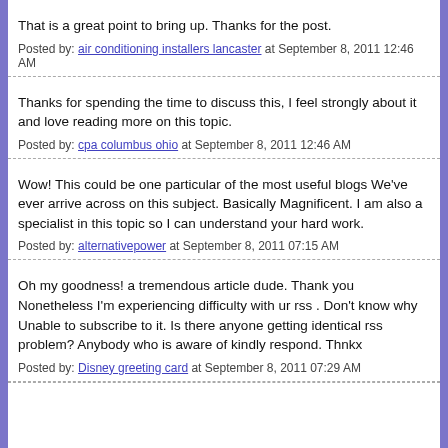That is a great point to bring up. Thanks for the post.
Posted by: air conditioning installers lancaster at September 8, 2011 12:46 AM
Thanks for spending the time to discuss this, I feel strongly about it and love reading more on this topic.
Posted by: cpa columbus ohio at September 8, 2011 12:46 AM
Wow! This could be one particular of the most useful blogs We've ever arrive across on this subject. Basically Magnificent. I am also a specialist in this topic so I can understand your hard work.
Posted by: alternativepower at September 8, 2011 07:15 AM
Oh my goodness! a tremendous article dude. Thank you Nonetheless I'm experiencing difficulty with ur rss . Don't know why Unable to subscribe to it. Is there anyone getting identical rss problem? Anybody who is aware of kindly respond. Thnkx
Posted by: Disney greeting card at September 8, 2011 07:29 AM